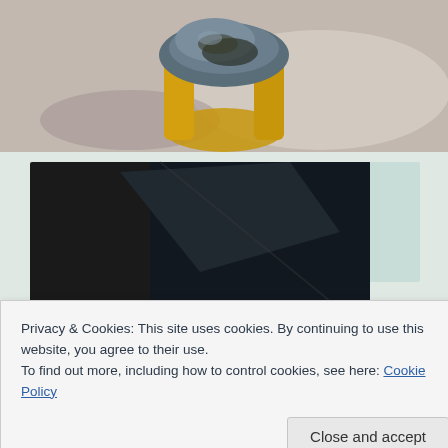[Figure (photo): Close-up photo of a sculptural object with blue, yellow, and dark brown/green colors on a light gray/beige background, viewed from above.]
[Figure (photo): Partial view of what appears to be framed artwork or photographs arranged together, dark tones, partially obscured by cookie banner.]
Privacy & Cookies: This site uses cookies. By continuing to use this website, you agree to their use.
To find out more, including how to control cookies, see here: Cookie Policy
Close and accept